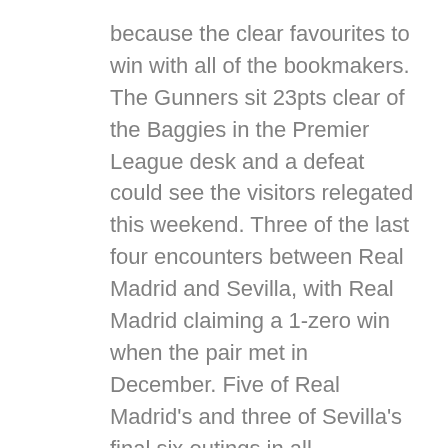because the clear favourites to win with all of the bookmakers. The Gunners sit 23pts clear of the Baggies in the Premier League desk and a defeat could see the visitors relegated this weekend. Three of the last four encounters between Real Madrid and Sevilla, with Real Madrid claiming a 1-zero win when the pair met in December. Five of Real Madrid's and three of Sevilla's final six outings in all competitions have also ended with underneath 2.5 targets being scored.
That mentioned, a good variety of sports activities bettors complain of a better number of failing bets than winning bets. Amateur bettors are surprised to listen to that getting good at betting relies upon more on working at it than sheer luck – which is true. The US sports activities scene has grown exponentially and there are actually many available choices for the US bettors. Sports betting